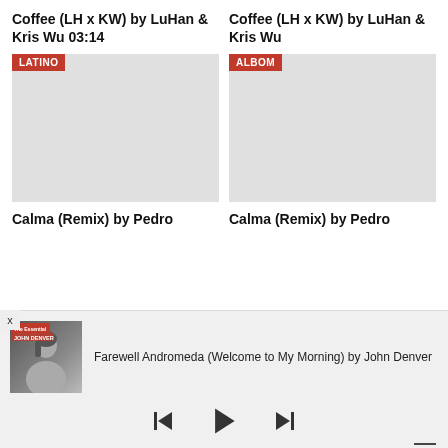Coffee (LH x KW) by LuHan & Kris Wu 03:14
Coffee (LH x KW) by LuHan & Kris Wu
[Figure (other): Music card with LATINO badge, grey placeholder image]
[Figure (other): Music card with ALBOM badge, grey placeholder image]
Calma (Remix) by Pedro
Calma (Remix) by Pedro
[Figure (photo): Music player bottom bar showing album art thumbnail (The Essential John Denver), track info, playback controls, and time display]
Farewell Andromeda (Welcome to My Morning) by John Denver
00:00:00
00:00:00